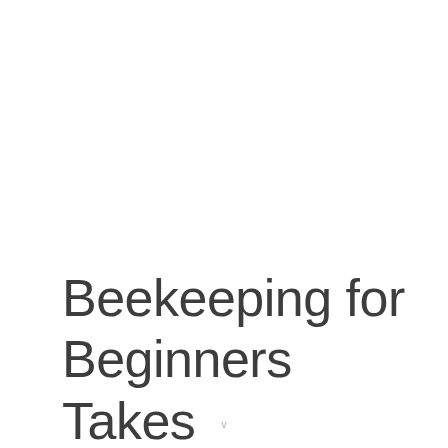Beekeeping for Beginners Takes
v